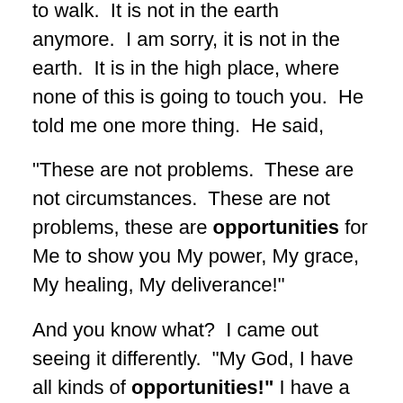to walk.  It is not in the earth anymore.  I am sorry, it is not in the earth.  It is in the high place, where none of this is going to touch you.  He told me one more thing.  He said,
“These are not problems.  These are not circumstances.  These are not problems, these are opportunities for Me to show you My power, My grace, My healing, My deliverance!”
And you know what?  I came out seeing it differently.  “My God, I have all kinds of opportunities!” I have a confidence in God.  They are opportunities for Him to reveal Himself to me.  Hallelujah!  Church, we have no business down here on the earth anymore!  We are sons of God!  We need to rise up and believe this Word, and take our situations to the Lord, that they might be opportunities for God to bless us and minister to us.